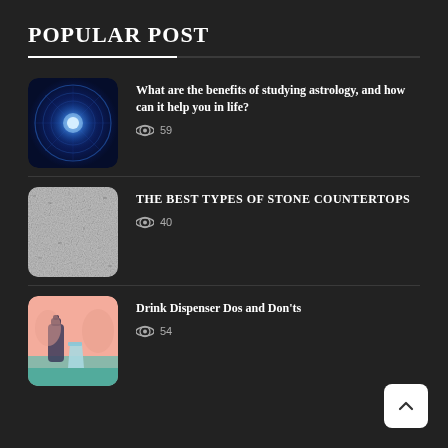POPULAR POST
What are the benefits of studying astrology, and how can it help you in life? 59 views
THE BEST TYPES OF STONE COUNTERTOPS 40 views
Drink Dispenser Dos and Don'ts 54 views